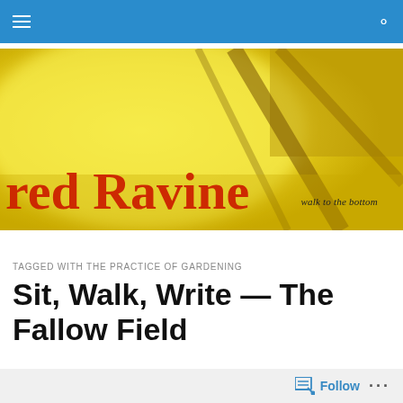Navigation bar with hamburger menu and search icon
[Figure (illustration): Red Ravine blog banner — close-up of yellow flower petals with 'red Ravine' in red serif text and 'walk to the bottom' tagline in dark text on the right]
TAGGED WITH THE PRACTICE OF GARDENING
Sit, Walk, Write — The Fallow Field
[Figure (photo): Partial black and white photograph at the bottom of the page]
Follow   ...